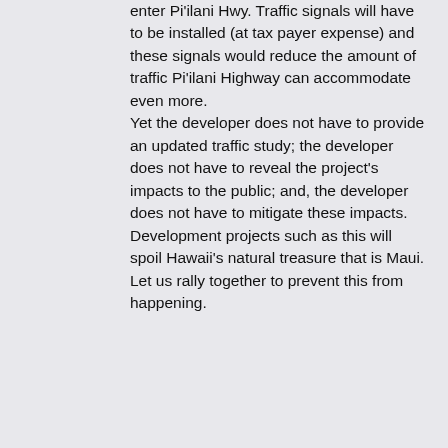enter Pi'ilani Hwy. Traffic signals will have to be installed (at tax payer expense) and these signals would reduce the amount of traffic Pi'ilani Highway can accommodate even more. Yet the developer does not have to provide an updated traffic study; the developer does not have to reveal the project's impacts to the public; and, the developer does not have to mitigate these impacts. Development projects such as this will spoil Hawaii's natural treasure that is Maui. Let us rally together to prevent this from happening.